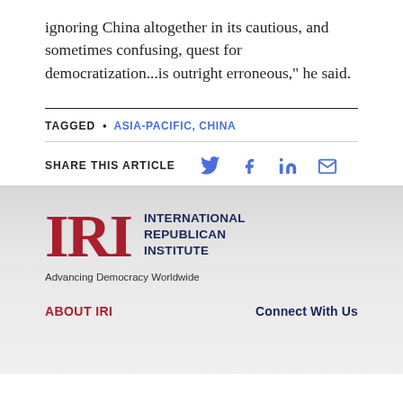ignoring China altogether in its cautious, and sometimes confusing, quest for democratization...is outright erroneous," he said.
TAGGED • ASIA-PACIFIC, CHINA
SHARE THIS ARTICLE
[Figure (logo): IRI - International Republican Institute logo with tagline Advancing Democracy Worldwide]
ABOUT IRI
Connect With Us